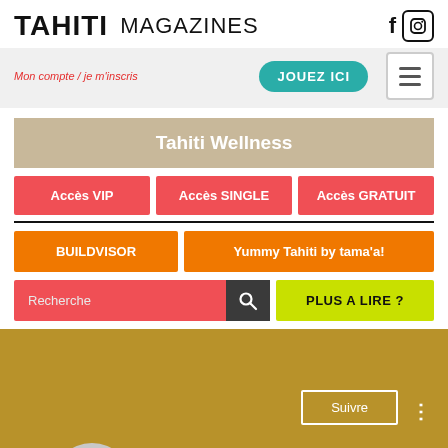TAHITI MAGAZINES
Mon compte / je m'inscris
JOUEZ ICI
Tahiti Wellness
Accès VIP
Accès SINGLE
Accès GRATUIT
BUILDVISOR
Yummy Tahiti by tama'a!
Recherche
PLUS A LIRE ?
Suivre
N